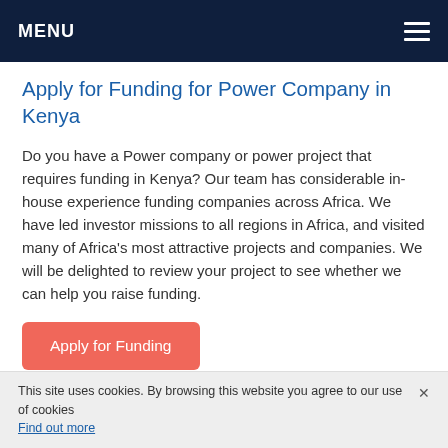MENU
Apply for Funding for Power Company in Kenya
Do you have a Power company or power project that requires funding in Kenya? Our team has considerable in-house experience funding companies across Africa. We have led investor missions to all regions in Africa, and visited many of Africa’s most attractive projects and companies. We will be delighted to review your project to see whether we can help you raise funding.
Apply for Funding
Get Updates on Investor Missions to Kenya
This site uses cookies. By browsing this website you agree to our use of cookies. Find out more